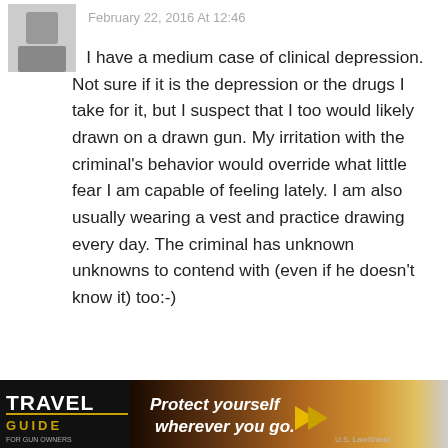February 22, 2016 At 12:46
I have a medium case of clinical depression. Not sure if it is the depression or the drugs I take for it, but I suspect that I too would likely drawn on a drawn gun. My irritation with the criminal's behavior would override what little fear I am capable of feeling lately. I am also usually wearing a vest and practice drawing every day. The criminal has unknown unknowns to contend with (even if he doesn't know it) too:-)
Reply
CLarson
February 22, 2016 At 13:07
r own hands s intentions.
[Figure (advertisement): Travel Guide for Gun Owners ad banner: Protect yourself wherever you go. US LawShield logo.]